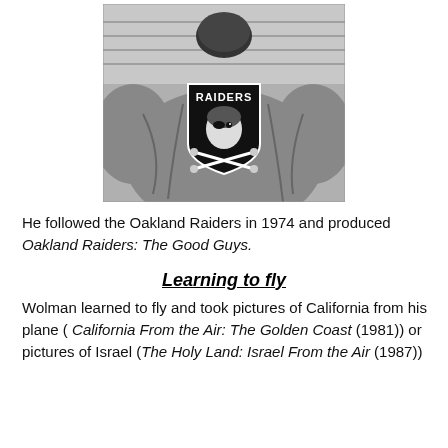[Figure (photo): Black and white photograph of a person wearing a jacket with the Oakland Raiders logo (shield with 'RAIDERS' text and the Raider mascot). The person appears to be at a stadium.]
He followed the Oakland Raiders in 1974 and produced Oakland Raiders: The Good Guys.
Learning to fly
Wolman learned to fly and took pictures of California from his plane ( California From the Air: The Golden Coast (1981)) or pictures of Israel (The Holy Land: Israel From the Air (1987))